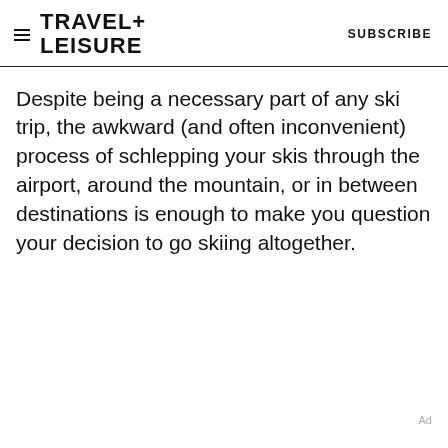TRAVEL+ LEISURE   SUBSCRIBE
Despite being a necessary part of any ski trip, the awkward (and often inconvenient) process of schlepping your skis through the airport, around the mountain, or in between destinations is enough to make you question your decision to go skiing altogether.
Ad